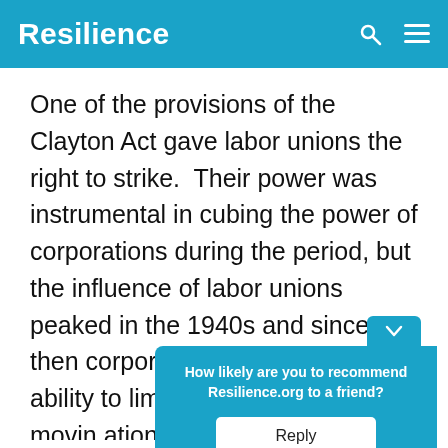Resilience
One of the provisions of the Clayton Act gave labor unions the right to strike.  Their power was instrumental in cubing the power of corporations during the period, but the influence of labor unions peaked in the 1940s and since then corporations have had the ability to limit wage growth by movin[g ...] ations have a[...] thems[...]
[Figure (other): Survey popup widget with tab showing chevron down arrow, teal background, asking 'How likely are you to recommend Resilience.org to a friend?' with a Reply button]